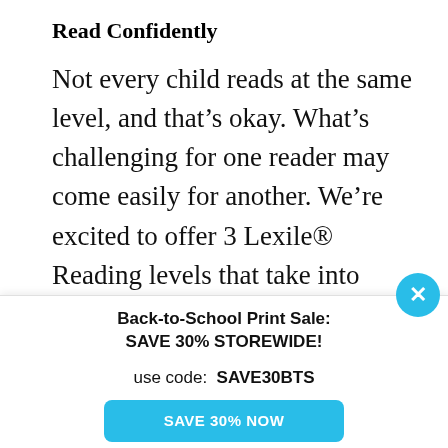Read Confidently
Not every child reads at the same level, and that’s okay. What’s challenging for one reader may come easily for another. We’re excited to offer 3 Lexile® Reading levels that take into account grammar, vocabulary and sentence length.
Back-to-School Print Sale: SAVE 30% STOREWIDE!
use code:  SAVE30BTS
SAVE 30% NOW